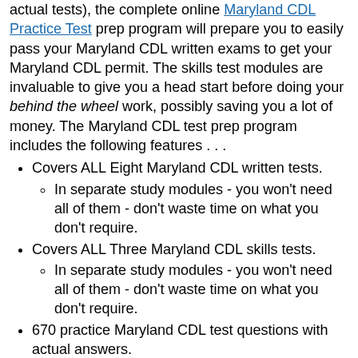actual tests), the complete online Maryland CDL Practice Test prep program will prepare you to easily pass your Maryland CDL written exams to get your Maryland CDL permit. The skills test modules are invaluable to give you a head start before doing your behind the wheel work, possibly saving you a lot of money. The Maryland CDL test prep program includes the following features . . .
Covers ALL Eight Maryland CDL written tests.
In separate study modules - you won't need all of them - don't waste time on what you don't require.
Covers ALL Three Maryland CDL skills tests.
In separate study modules - you won't need all of them - don't waste time on what you don't require.
670 practice Maryland CDL test questions with actual answers.
Access to CDL videos covering written and skills tests.
CDL study guide in both text and audio - listen as you read along.
CDL study Quick Reviews.
Interactive online CDL Quizzes.
and much more!